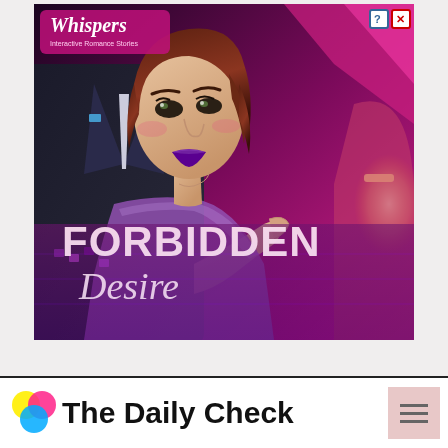[Figure (illustration): Advertisement for 'Whispers: Interactive Romance Stories' game showing illustrated woman with short brown hair and purple lipstick, man in dark suit behind her, neon pink/purple nightclub background. Text overlay reads 'FORBIDDEN Desire' in large stylized letters. 'Whispers Interactive Romance Stories' logo top left. Help (?) and close (X) buttons top right.]
The Daily Check